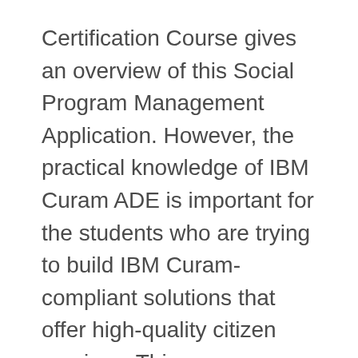Certification Course gives an overview of this Social Program Management Application. However, the practical knowledge of IBM Curam ADE is important for the students who are trying to build IBM Curam-compliant solutions that offer high-quality citizen services. This course provides a solid foundation for IBM Curam's model-driven approach for development and ADE. In addition, It offers an architectural outline of the IBM Curam application and introduces ADE functionality and tools for modeling, coding, building and troubleshooting applications. During the course, learners will develop and execute a simple end-to-end application with many ADE client and server features.